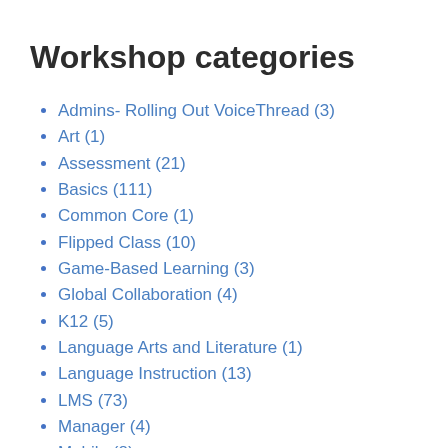Workshop categories
Admins- Rolling Out VoiceThread (3)
Art (1)
Assessment (21)
Basics (111)
Common Core (1)
Flipped Class (10)
Game-Based Learning (3)
Global Collaboration (4)
K12 (5)
Language Arts and Literature (1)
Language Instruction (13)
LMS (73)
Manager (4)
Mobile (?)